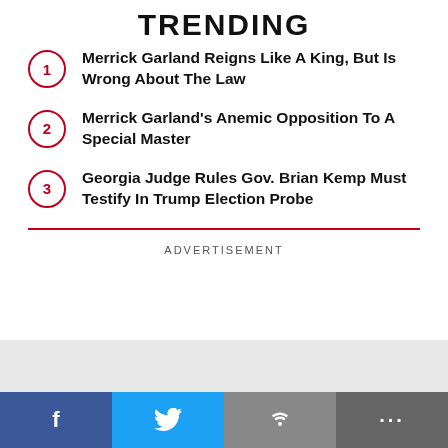TRENDING
Merrick Garland Reigns Like A King, But Is Wrong About The Law
Merrick Garland's Anemic Opposition To A Special Master
Georgia Judge Rules Gov. Brian Kemp Must Testify In Trump Election Probe
ADVERTISEMENT